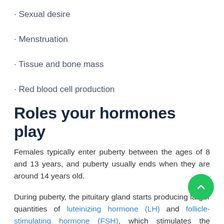· Sexual desire
· Menstruation
· Tissue and bone mass
· Red blood cell production
Roles your hormones play
Females typically enter puberty between the ages of 8 and 13 years, and puberty usually ends when they are around 14 years old.
During puberty, the pituitary gland starts producing larger quantities of luteinizing hormone (LH) and follicle-stimulating hormone (FSH), which stimulates the production of estrogen